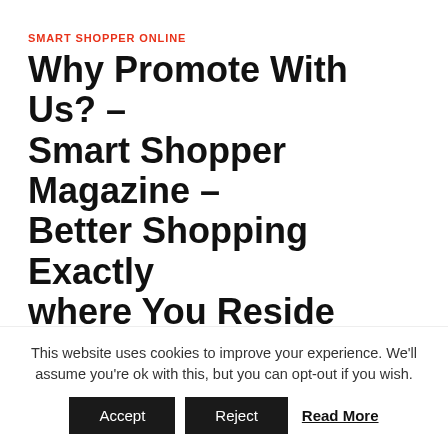SMART SHOPPER ONLINE
Why Promote With Us? – Smart Shopper Magazine – Better Shopping Exactly where You Reside
March 31, 2016  ·  by Donna Collazo
Smart Shopper Online  Most, if not all, organizations want to have a data warehouse if they want to be in a position to spot trends
This website uses cookies to improve your experience. We'll assume you're ok with this, but you can opt-out if you wish. Accept Reject Read More